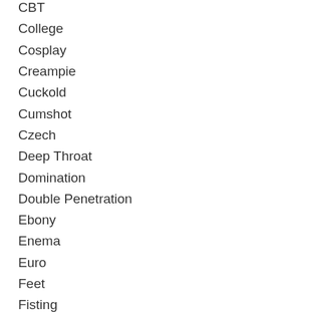CBT
College
Cosplay
Creampie
Cuckold
Cumshot
Czech
Deep Throat
Domination
Double Penetration
Ebony
Enema
Euro
Feet
Fisting
Gangbang
Gay
General
Group Sex
Hairy
Handjob
Humiliation